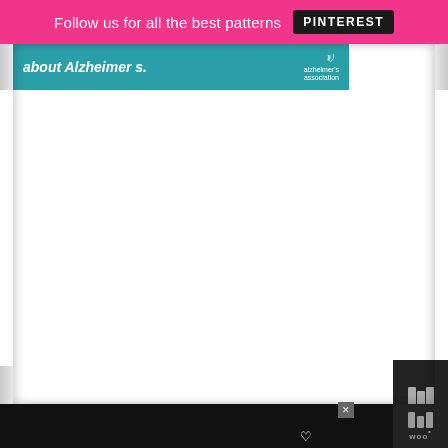Follow us for all the best patterns PINTEREST
[Figure (other): Alzheimer's Association teal banner ad with bold italic white text reading 'about Alzheimer s.' and the Alzheimer's association logo on the right]
[Figure (other): PAWFECT MATCH advertisement banner on dark/orange background with a cat image, italic bold white text 'PAWFECT MATCH', underline, heart icon, close button, and Woo app logo on right side]